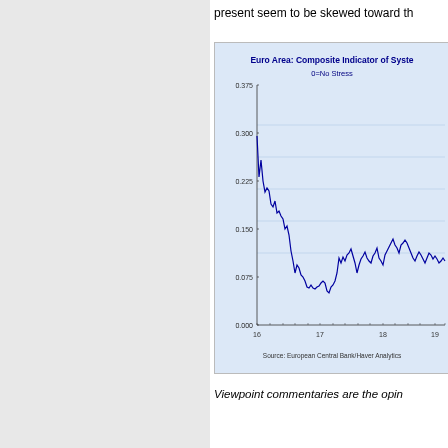present seem to be skewed toward th
[Figure (continuous-plot): Line chart showing Euro Area Composite Indicator of Systemic Stress (CISS). Y-axis from 0.000 to 0.375. X-axis from 16 to 19 (years). Line peaks near 0.300 at start (around year 16), then drops and fluctuates between ~0.050 and ~0.150 through years 17-19. Source: European Central Bank/Haver Analytics.]
Viewpoint commentaries are the opin